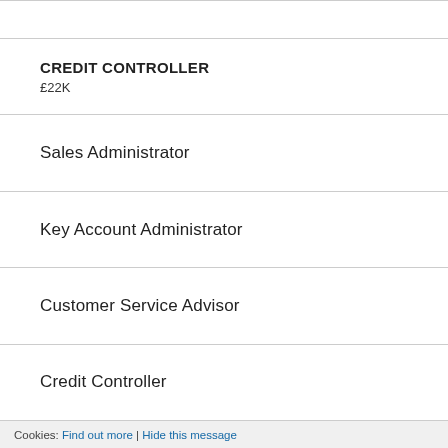CREDIT CONTROLLER
£22K
Sales Administrator
Key Account Administrator
Customer Service Advisor
Credit Controller
Cookies: Find out more | Hide this message